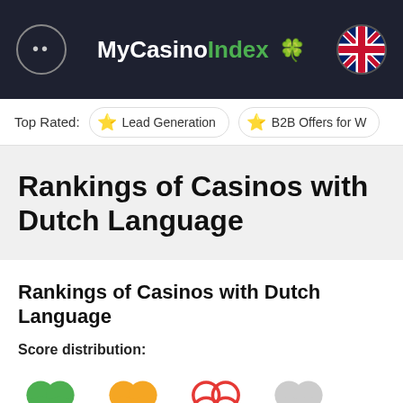MyCasinoIndex
Top Rated: Lead Generation | B2B Offers for W...
Rankings of Casinos with Dutch Language
Rankings of Casinos with Dutch Language
Score distribution:
[Figure (illustration): Four shamrock/clover icons in green, yellow/gold, red, and gray representing score distribution categories]